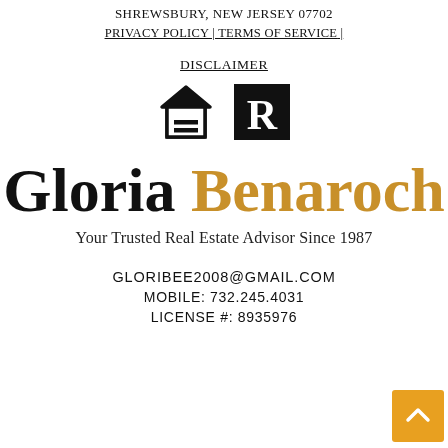SHREWSBURY, NEW JERSEY 07702
PRIVACY POLICY | TERMS OF SERVICE |
DISCLAIMER
[Figure (logo): Equal Housing Opportunity logo (house with equal sign) and Realtor R logo]
Gloria Benaroch
Your Trusted Real Estate Advisor Since 1987
GLORIBEE2008@GMAIL.COM
MOBILE: 732.245.4031
LICENSE #: 8935976